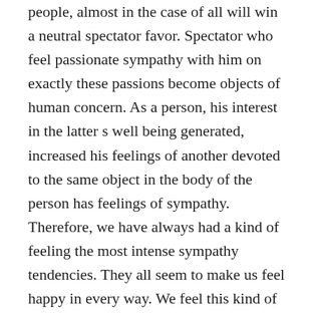people, almost in the case of all will win a neutral spectator favor. Spectator who feel passionate sympathy with him on exactly these passions become objects of human concern. As a person, his interest in the latter s well being generated, increased his feelings of another devoted to the same object in the body of the person has feelings of sympathy. Therefore, we have always had a kind of feeling the most intense sympathy tendencies. They all seem to make us feel happy in every way. We feel this kind of emotion and feelings 1Z0-857 become the object of a...